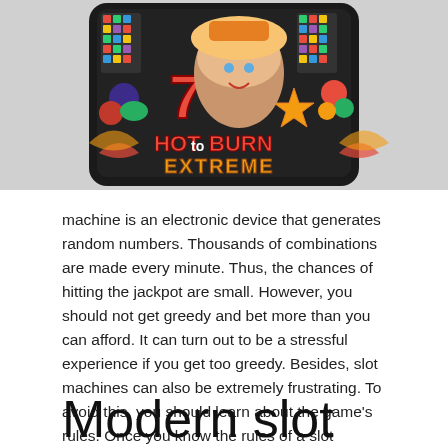[Figure (illustration): Hot to Burn Extreme slot machine game promotional image showing a woman character with fruit symbols, a 7, a star, and colorful game elements on a dark background with the text 'HOT TO BURN EXTREME'.]
machine is an electronic device that generates random numbers. Thousands of combinations are made every minute. Thus, the chances of hitting the jackpot are small. However, you should not get greedy and bet more than you can afford. It can turn out to be a stressful experience if you get too greedy. Besides, slot machines can also be extremely frustrating. To avoid this, you should learn about the game's rules. Once you know the rules of a slot machine, you will be able to play it safely and enjoy it more.
Modern slot